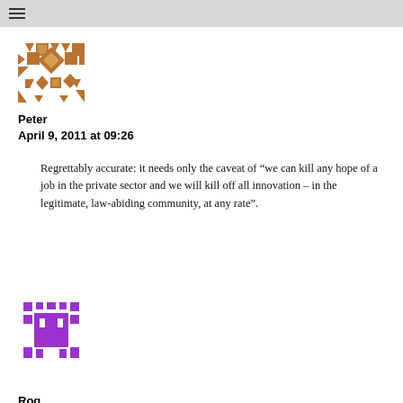≡
[Figure (illustration): Avatar image for user Peter — geometric diamond/star pattern in brown/orange tones]
Peter
April 9, 2011 at 09:26
Regrettably accurate: it needs only the caveat of “we can kill any hope of a job in the private sector and we will kill off all innovation – in the legitimate, law-abiding community, at any rate”.
Reply
[Figure (illustration): Avatar image for user Rog — geometric pixel/space-invader pattern in purple tones]
Rog